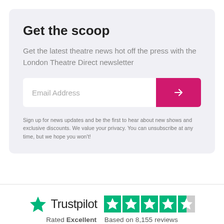Get the scoop
Get the latest theatre news hot off the press with the London Theatre Direct newsletter
[Figure (other): Email address input field with pink submit arrow button]
Sign up for news updates and be the first to hear about new shows and exclusive discounts. We value your privacy. You can unsubscribe at any time, but we hope you won't!
[Figure (logo): Trustpilot logo with green star and star rating (4.5 out of 5 stars)]
Rated Excellent   Based on 8,155 reviews